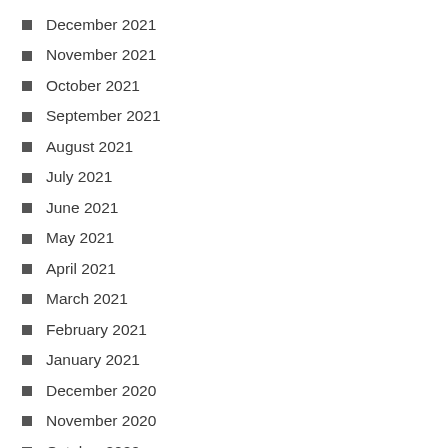December 2021
November 2021
October 2021
September 2021
August 2021
July 2021
June 2021
May 2021
April 2021
March 2021
February 2021
January 2021
December 2020
November 2020
October 2020
August 2020
July 2020